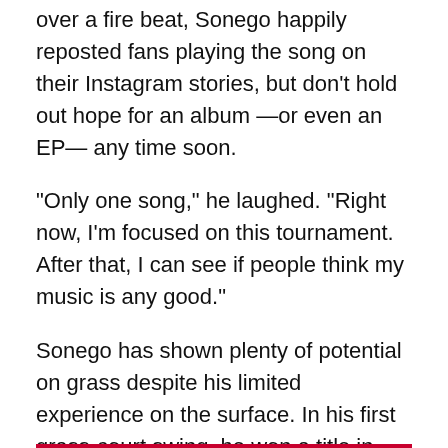over a fire beat, Sonego happily reposted fans playing the song on their Instagram stories, but don't hold out hope for an album —or even an EP— any time soon.
“Only one song,” he laughed. “Right now, I’m focused on this tournament. After that, I can see if people think my music is any good.”
Sonego has shown plenty of potential on grass despite his limited experience on the surface. In his first grass-court swing, he won a title in Antalya and finished runner-up to Alex de Minaur last week in Eastbourne.